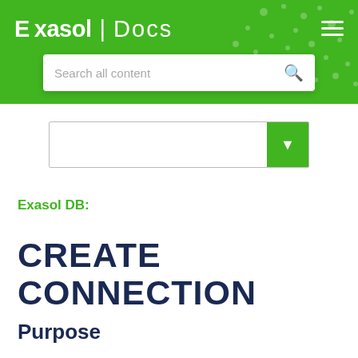Exasol | Docs
[Figure (screenshot): Search bar with placeholder text 'Search all content' and a search icon on the right]
[Figure (screenshot): Dropdown selector with green button and down arrow]
Exasol DB:
CREATE CONNECTION
Purpose